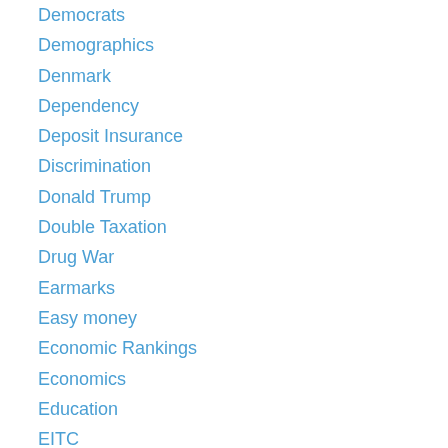Democrats
Demographics
Denmark
Dependency
Deposit Insurance
Discrimination
Donald Trump
Double Taxation
Drug War
Earmarks
Easy money
Economic Rankings
Economics
Education
EITC
Election
Elitism
Elizabeth Warren
Eminent Domain
England